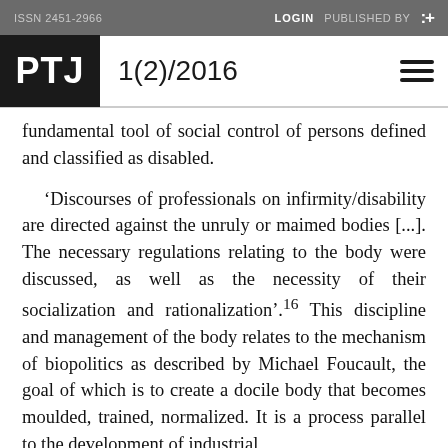ISSN 2451-2966   LOGIN   PUBLISHED BY   :+
PTJ   1(2)/2016
fundamental tool of social control of persons defined and classified as disabled.
‘Discourses of professionals on infirmity/disability are directed against the unruly or maimed bodies [...]. The necessary regulations relating to the body were discussed, as well as the necessity of their socialization and rationalization’.¹⁶ This discipline and management of the body relates to the mechanism of biopolitics as described by Michael Foucault, the goal of which is to create a docile body that becomes moulded, trained, normalized. It is a process parallel to the development of industrial